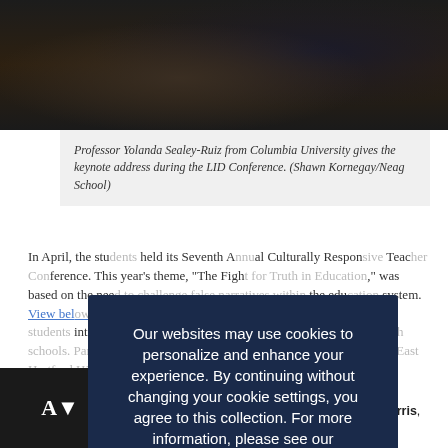[Figure (photo): Professor Yolanda Sealey-Ruiz giving a keynote address, dark background with warm tones]
Professor Yolanda Sealey-Ruiz from Columbia University gives the keynote address during the LID Conference. (Shawn Kornegay/Neag School)
In April, the students held its Seventh Annual Culturally Responsive Teacher Conference. This year's theme, "The Fight for Truth in Education," was based on the need to challenge false narratives within the education system. View below. LID also hosted the UConn campus in April, for students interested in becoming educators from local (Connecticut) high schools. Participants included students from Manchester High School, East Hartford High School, and West Hartford schools, Conard and Hall. View photos from the LID Conference.
Our websites may use cookies to personalize and enhance your experience. By continuing without changing your cookie settings, you agree to this collection. For more information, please see our UNIVERSITY WEBSITES PRIVACY NOTICE.
OK ✓
Grace Player, doctoral student Sian Charles-Harris, and